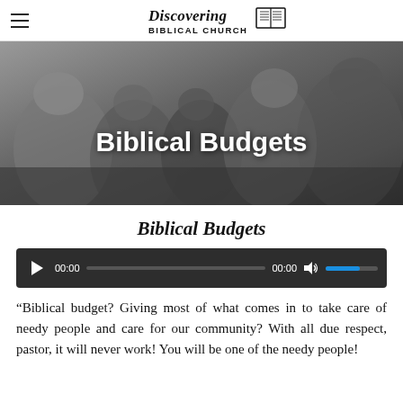Discovering Biblical Church
[Figure (photo): Black and white photo of a group of people huddled together, likely praying, with the text 'Biblical Budgets' overlaid in white bold font]
Biblical Budgets
[Figure (other): Audio player with play button, progress bar showing 00:00 / 00:00, mute button, and blue volume slider]
“Biblical budget? Giving most of what comes in to take care of needy people and care for our community? With all due respect, pastor, it will never work! You will be one of the needy people!